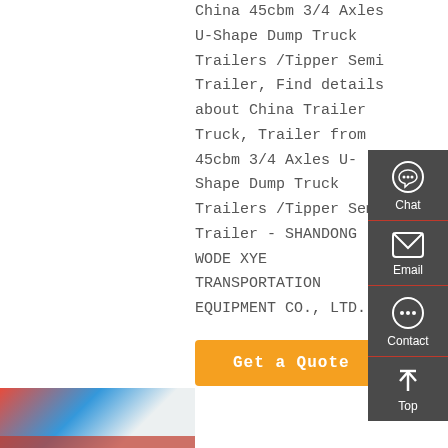China 45cbm 3/4 Axles U-Shape Dump Truck Trailers /Tipper Semi Trailer, Find details about China Trailer Truck, Trailer from 45cbm 3/4 Axles U-Shape Dump Truck Trailers /Tipper Semi Trailer - SHANDONG WODE XYE TRANSPORTATION EQUIPMENT CO., LTD.
[Figure (screenshot): Orange 'Get a Quote' button]
[Figure (screenshot): Dark gray sidebar with Chat, Email, Contact, and Top navigation icons and labels]
[Figure (photo): Partial product photo at bottom left showing a dump truck trailer]